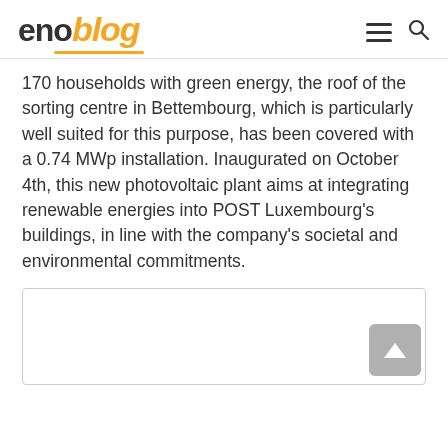enoblog
170 households with green energy, the roof of the sorting centre in Bettembourg, which is particularly well suited for this purpose, has been covered with a 0.74 MWp installation. Inaugurated on October 4th, this new photovoltaic plant aims at integrating renewable energies into POST Luxembourg's buildings, in line with the company's societal and environmental commitments.
[Figure (photo): Image placeholder box, partially visible at the bottom of the page]